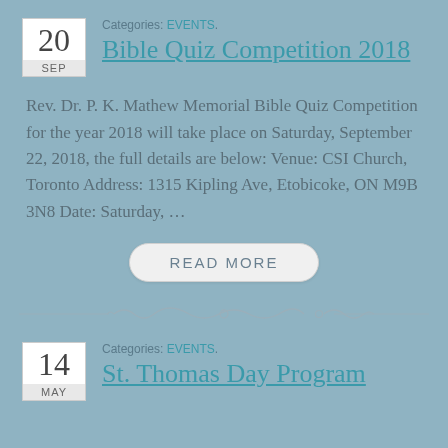Categories: EVENTS.
Bible Quiz Competition 2018
Rev. Dr. P. K. Mathew Memorial Bible Quiz Competition for the year 2018 will take place on Saturday, September 22, 2018, the full details are below: Venue: CSI Church, Toronto Address: 1315 Kipling Ave, Etobicoke, ON M9B 3N8 Date: Saturday, …
READ MORE
[Figure (illustration): Decorative divider line with ornamental scroll design]
Categories: EVENTS.
St. Thomas Day Program